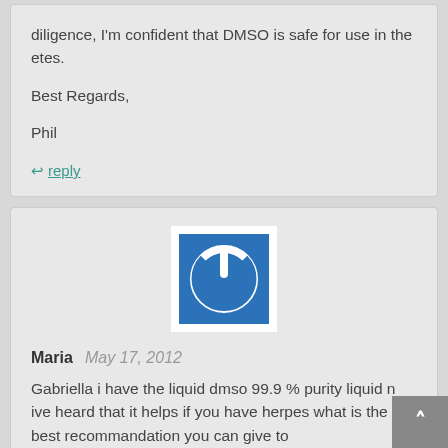diligence, I'm confident that DMSO is safe for use in the etes.

Best Regards,

Phil
↩ reply
[Figure (logo): Blue square with white power button icon on white background]
Maria  May 17, 2012
Gabriella i have the liquid dmso 99.9 % purity liquid n ive heard that it helps if you have herpes what is the best recommandation you can give to